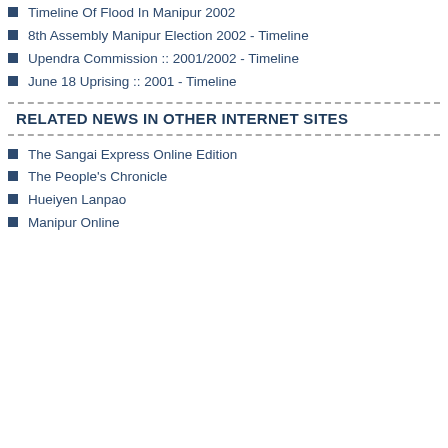Timeline Of Flood In Manipur 2002
8th Assembly Manipur Election 2002 - Timeline
Upendra Commission :: 2001/2002 - Timeline
June 18 Uprising :: 2001 - Timeline
RELATED NEWS IN OTHER INTERNET SITES
The Sangai Express Online Edition
The People's Chronicle
Hueiyen Lanpao
Manipur Online